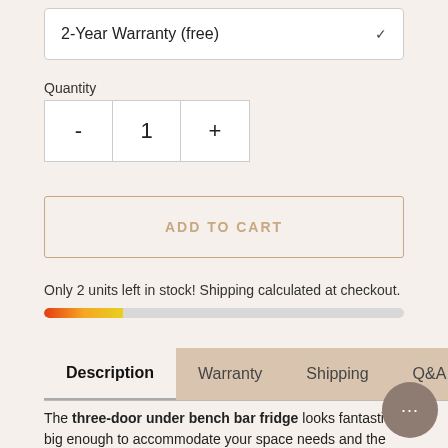2-Year Warranty (free)
Quantity
- 1 +
ADD TO CART
Only 2 units left in stock! Shipping calculated at checkout.
[Figure (infographic): Stock progress bar showing approximately 22% remaining, gradient from red to orange to yellow on left, grey on right]
Description  Warranty  Shipping  Q&A
The three-door under bench bar fridge looks fantastic. big enough to accommodate your space needs and the thirst of your guests or customers. The front-venting system makes this